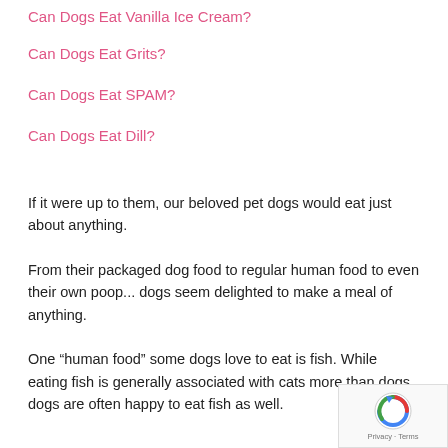Can Dogs Eat Vanilla Ice Cream?
Can Dogs Eat Grits?
Can Dogs Eat SPAM?
Can Dogs Eat Dill?
If it were up to them, our beloved pet dogs would eat just about anything.
From their packaged dog food to regular human food to even their own poop... dogs seem delighted to make a meal of anything.
One “human food” some dogs love to eat is fish. While eating fish is generally associated with cats more than dogs, dogs are often happy to eat fish as well.
Can Dogs Eat Fish?
And, if your dog seems interested in eating fish then, yes, by all